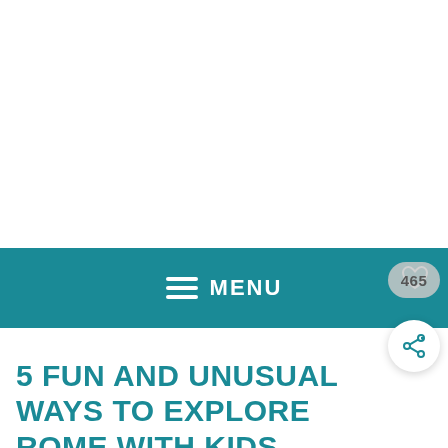[Figure (other): White blank image area at top of page]
MENU
5 FUN AND UNUSUAL WAYS TO EXPLORE ROME WITH KIDS